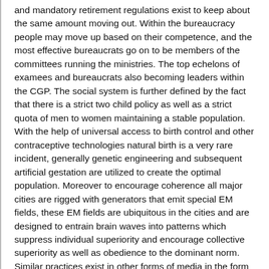and mandatory retirement regulations exist to keep about the same amount moving out. Within the bureaucracy people may move up based on their competence, and the most effective bureaucrats go on to be members of the committees running the ministries. The top echelons of examees and bureaucrats also becoming leaders within the CGP. The social system is further defined by the fact that there is a strict two child policy as well as a strict quota of men to women maintaining a stable population. With the help of universal access to birth control and other contraceptive technologies natural birth is a very rare incident, generally genetic engineering and subsequent artificial gestation are utilized to create the optimal population. Moreover to encourage coherence all major cities are rigged with generators that emit special EM fields, these EM fields are ubiquitous in the cities and are designed to entrain brain waves into patterns which suppress individual superiority and encourage collective superiority as well as obedience to the dominant norm. Similar practices exist in other forms of media in the form of subliminal messaging binaural conditioning and so on. This results in the absence of nearly all crime, and little to no political